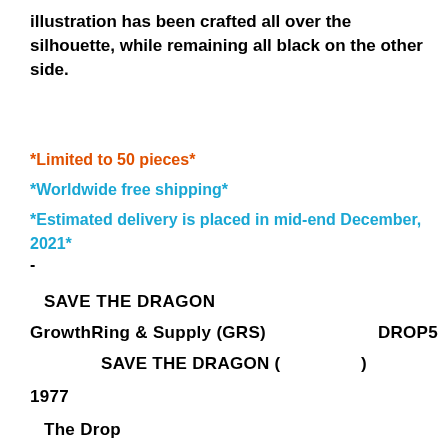illustration has been crafted all over the silhouette, while remaining all black on the other side.
*Limited to 50 pieces*
*Worldwide free shipping*
*Estimated delivery is placed in mid-end December, 2021*
-
SAVE THE DRAGON
GrowthRing & Supply (GRS)                          DROP5
SAVE THE DRAGON (                    )
1977
The Drop